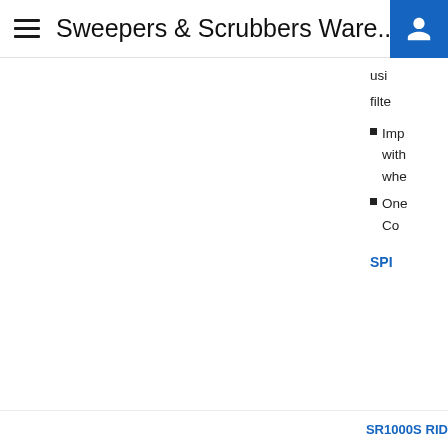Sweepers & Scrubbers Ware...
filte
Imp with whe
One Co
SPI
SR1000S RID